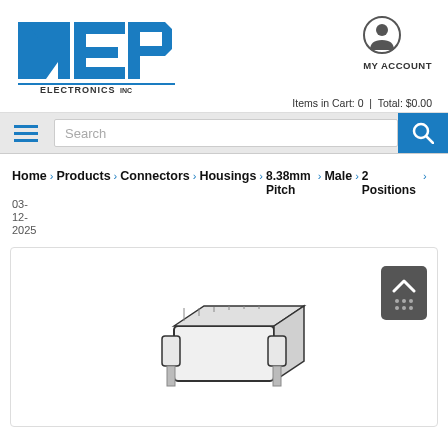[Figure (logo): NEP Electronics Inc logo with blue stylized N-E-P letters and 'ELECTRONICS INC' text]
[Figure (illustration): User account icon (person silhouette in circle) with MY ACCOUNT label below]
Items in Cart: 0 | Total: $0.00
Search
Home Products Connectors Housings > 8.38mm Pitch > Male > 2 Positions 03-12-2025
[Figure (photo): Electrical connector housing product photo showing a male 2-position connector with 8.38mm pitch, isometric view]